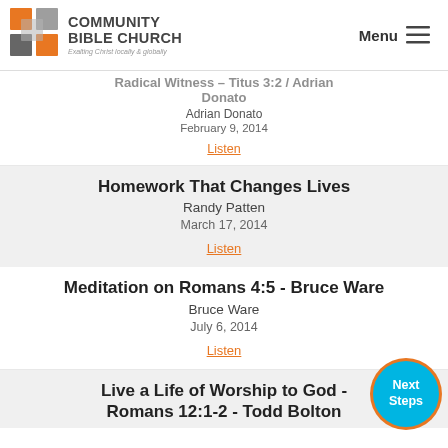[Figure (logo): Community Bible Church logo with colored squares and tagline 'Exalting Christ locally & globally']
Menu ≡
Radical Witness – Titus 3:2 / Adrian Donato
Adrian Donato
February 9, 2014
Listen
Homework That Changes Lives
Randy Patten
March 17, 2014
Listen
Meditation on Romans 4:5 - Bruce Ware
Bruce Ware
July 6, 2014
Listen
Live a Life of Worship to God - Romans 12:1-2 - Todd Bolton